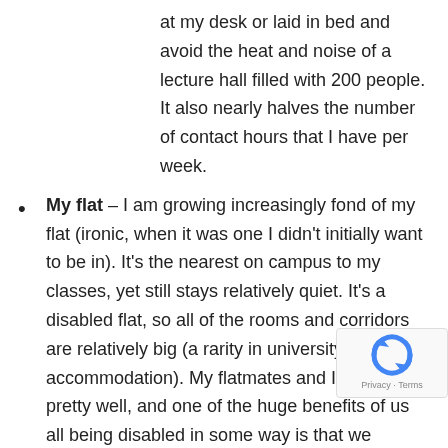at my desk or laid in bed and avoid the heat and noise of a lecture hall filled with 200 people. It also nearly halves the number of contact hours that I have per week.
My flat – I am growing increasingly fond of my flat (ironic, when it was one I didn't initially want to be in). It's the nearest on campus to my classes, yet still stays relatively quiet. It's a disabled flat, so all of the rooms and corridors are relatively big (a rarity in university accommodation). My flatmates and I all get on pretty well, and one of the huge benefits of us all being disabled in some way is that we generally get the "actually I can't do that" situations or the "can we get rid of those air fresheners, they're wrecking havoc with my chemical sensitivities" moments
My course – I mostly love my course. It's interesting